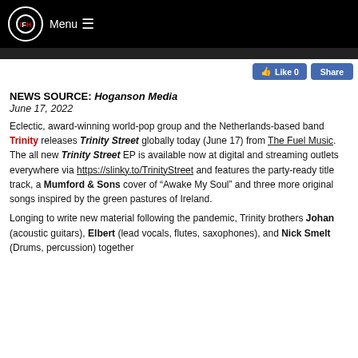IFH Menu
Like 0  Share
NEWS SOURCE: Hoganson Media
June 17, 2022
Eclectic, award-winning world-pop group and the Netherlands-based band Trinity releases Trinity Street globally today (June 17) from The Fuel Music. The all new Trinity Street EP is available now at digital and streaming outlets everywhere via https://slinky.to/TrinityStreet and features the party-ready title track, a Mumford & Sons cover of “Awake My Soul” and three more original songs inspired by the green pastures of Ireland.
Longing to write new material following the pandemic, Trinity brothers Johan (acoustic guitars), Elbert (lead vocals, flutes, saxophones), and Nick Smelt (Drums, percussion) together